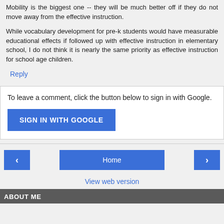Mobility is the biggest one -- they will be much better off if they do not move away from the effective instruction.
While vocabulary development for pre-k students would have measurable educational effects if followed up with effective instruction in elementary school, I do not think it is nearly the same priority as effective instruction for school age children.
Reply
To leave a comment, click the button below to sign in with Google.
[Figure (other): SIGN IN WITH GOOGLE button (blue rectangle)]
[Figure (other): Navigation bar with left arrow button, Home button, right arrow button]
View web version
ABOUT ME